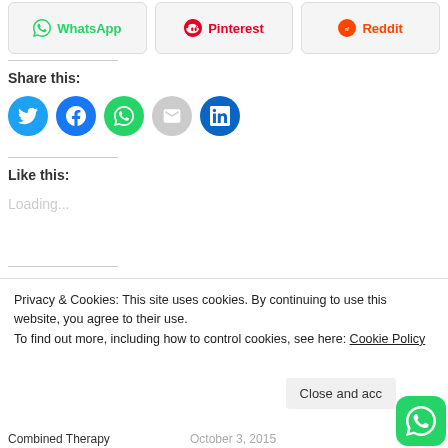[Figure (screenshot): Share buttons row: WhatsApp, Pinterest, Reddit]
Share this:
[Figure (screenshot): Row of circular social share icon buttons: Twitter (blue), Facebook (blue), WhatsApp (green), Email (grey), LinkedIn (dark blue)]
Like this:
Loading...
Privacy & Cookies: This site uses cookies. By continuing to use this website, you agree to their use.
To find out more, including how to control cookies, see here: Cookie Policy
Close and acc
Combined Therapy
October 3, 2015